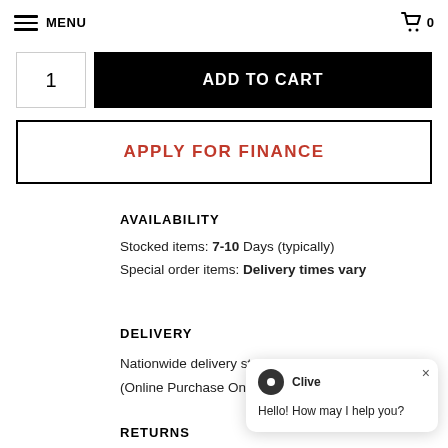MENU  0
1  ADD TO CART
APPLY FOR FINANCE
AVAILABILITY
Stocked items: 7-10 Days (typically)
Special order items: Delivery times vary
DELIVERY
Nationwide delivery starting at R700 (Online Purchase Only).
RETURNS